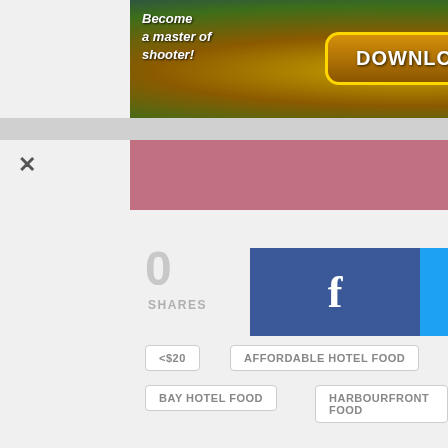[Figure (screenshot): Top advertisement banner: game ad with text 'Become a master of shooter!' and 'DOWNLOAD NOW' button with close X]
[Figure (screenshot): Pink/rose colored bar (partial content area)]
0
SHARES
[Figure (screenshot): Facebook share button (blue) and Twitter share button (cyan)]
<$20
AFFORDABLE HOTEL FOOD
BAY HOTEL FOOD
HARBOURFRONT FOOD
INDOMIE
INDOMIE RESTAURANT
PROMOTION ENDED
RUMAH RASA
ADVERTISEMENT
[Figure (screenshot): Bottom advertisement banner with colorful gradient and app icons]
[Figure (screenshot): Bottom sticky bar with logo, share count 0, Facebook button, and WhatsApp button]